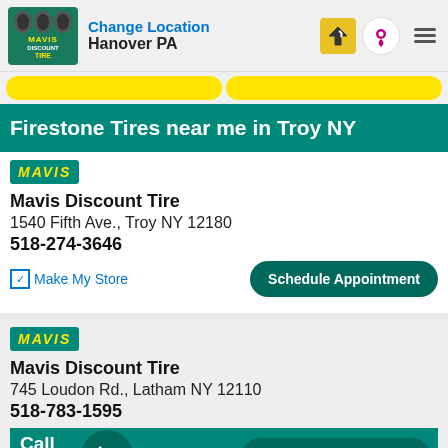Change Location Hanover PA
Firestone Tires near me in Troy NY
Mavis Discount Tire
1540 Fifth Ave., Troy NY 12180
518-274-3646
Make My Store
Schedule Appointment
Mavis Discount Tire
745 Loudon Rd., Latham NY 12110
518-783-1595
Schedule Appointment
Call Store